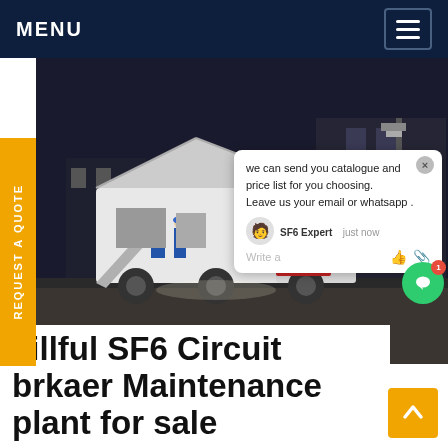MENU
[Figure (photo): Night-time photo of an SF6 circuit breaker maintenance vehicle/truck with equipment ramp, workers in blue uniforms visible, industrial facility in background. Orange watermark text 'SF6China' visible bottom right.]
we can send you catalogue and price list for you choosing. Leave us your email or whatsapp .
SF6 Expert   just now
Write a
REQUEST A QUOTE
killful SF6 Circuit brkaer Maintenance plant for sale